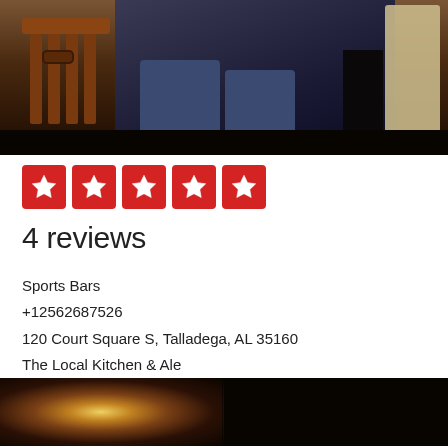[Figure (photo): Interior photo of a bar/restaurant showing a wooden chair with slats on the left, a person seated in blue jeans, and a lighter-colored chair on the right, dark wood flooring]
[Figure (other): Five red star rating boxes with white stars indicating a 5-star rating]
4 reviews
Sports Bars
+12562687526
120 Court Square S, Talladega, AL 35160
The Local Kitchen & Ale
[Figure (photo): Dark interior photo of a bar with a glass dish reflecting light on a wooden table]